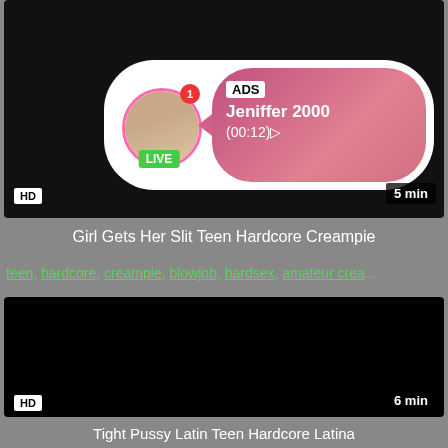[Figure (screenshot): Video thumbnail with ad overlay showing profile picture with LIVE badge, ADS label, name Jeniffer 2000, time (00:12), HD badge and 5 min duration]
Girl Gets Her Slit Teen Hardcore Creampie
teen, hardcore, creampie, blowjob, hardsex, amateur crea...
[Figure (screenshot): Black video thumbnail with HD badge and 6 min duration label]
Tight Pussy Latin Teen Hardcore Latina